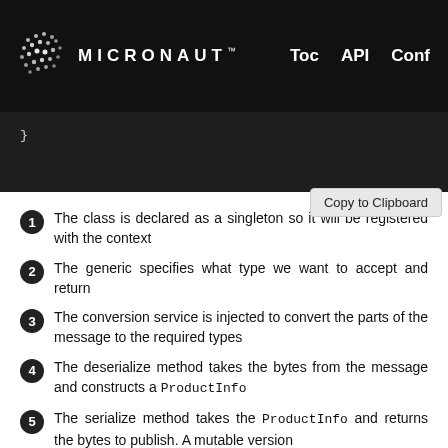MICRONAUT™  Toc  API  Conf
}
[Figure (screenshot): Copy to Clipboard button]
1. The class is declared as a singleton so it will be registered with the context
2. The generic specifies what type we want to accept and return
3. The conversion service is injected to convert the parts of the message to the required types
4. The deserialize method takes the bytes from the message and constructs a ProductInfo
5. The serialize method takes the ProductInfo and returns the bytes to publish. A mutable version